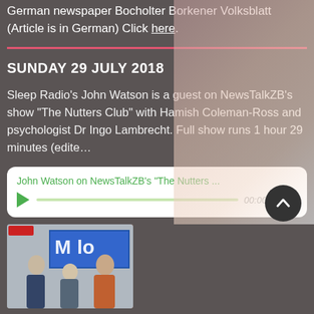German newspaper Bocholter Borkener Volksblatt (Article is in German) Click here.
SUNDAY 29 JULY 2018
Sleep Radio's John Watson is a guest on NewsTalkZB's show "The Nutters Club" with Hamish Coleman-Ross and psychologist Dr Ingo Lambrecht. Full show runs 1 hour 29 minutes (edite…
[Figure (other): Audio player widget showing 'John Watson on NewsTalkZB's "The Nutters …' with green play button, progress bar, and time display 00:00/00:00]
[Figure (photo): Photo of three men posing together, appears to be in a radio studio with blue signage in background]
JULY 2018